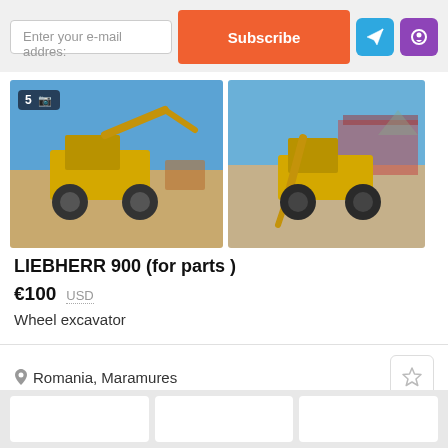Enter your e-mail address: | Subscribe
[Figure (photo): Yellow Liebherr 900 wheel excavator parked on a dirt yard, blue sky background, photo badge showing 5 photos]
[Figure (photo): Second view of yellow wheel excavator with arm extended, parked in a yard with building visible in background]
LIEBHERR 900 (for parts )
€100  USD
Wheel excavator
Romania, Maramures